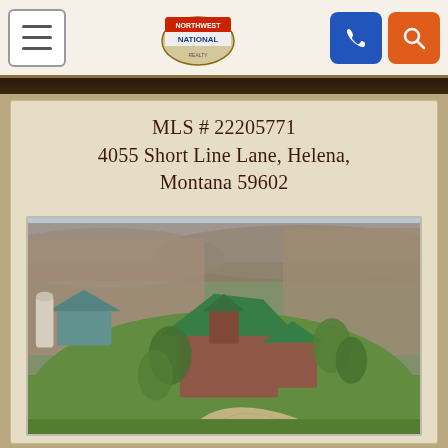Northwest National Realty navigation bar
MLS # 22205771
4055 Short Line Lane, Helena, Montana 59602
[Figure (photo): Aerial drone photograph of a large property with a home featuring a green roof, surrounded by trees, green lawns, farm buildings, and a curved driveway, set in a rural landscape near Helena, Montana]